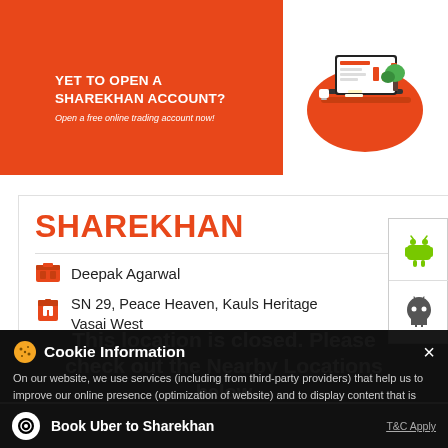[Figure (screenshot): Sharekhan promotional banner with orange background showing laptop illustration and text 'YET TO OPEN A SHAREKHAN ACCOUNT? Open a free online trading account now!']
SHAREKHAN
Deepak Agarwal
SN 29, Peace Heaven, Kauls Heritage Vasai West
This location is closed. Please check out the Nearby Locations below
Cookie Information

On our website, we use services (including from third-party providers) that help us to improve our online presence (optimization of website) and to display content that is geared to their interests. We need your consent before being able to use these services.
LOOKING FOR A BETTER DEMAT
Book Uber to Sharekhan
T&C Apply